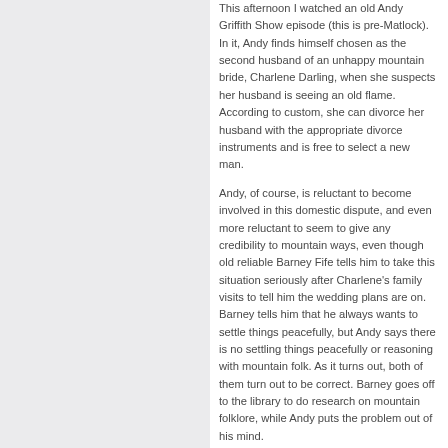This afternoon I watched an old Andy Griffith Show episode (this is pre-Matlock). In it, Andy finds himself chosen as the second husband of an unhappy mountain bride, Charlene Darling, when she suspects her husband is seeing an old flame. According to custom, she can divorce her husband with the appropriate divorce instruments and is free to select a new man.

Andy, of course, is reluctant to become involved in this domestic dispute, and even more reluctant to seem to give any credibility to mountain ways, even though old reliable Barney Fife tells him to take this situation seriously after Charlene's family visits to tell him the wedding plans are on. Barney tells him that he always wants to settle things peacefully, but Andy says there is no settling things peacefully or reasoning with mountain folk. As it turns out, both of them turn out to be correct. Barney goes off to the library to do research on mountain folklore, while Andy puts the problem out of his mind.

Things go from bad to worse. Charlene's to-be ex-husband Dudley (played by Bob Denver) shows up to challenge Andy to a duel of some sort and Andy cannot placate either Charlene or her father. Back comes Barney with a book on folklore, which says the "intended" (Andy) can derail the wedding by digging up the "instruments" by a fr...